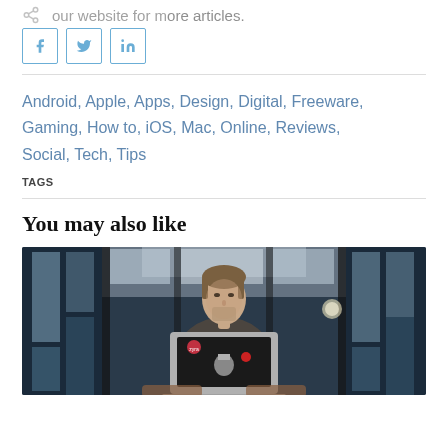our website for more articles.
Share buttons: Facebook, Twitter, LinkedIn
Android, Apple, Apps, Design, Digital, Freeware, Gaming, How to, iOS, Mac, Online, Reviews, Social, Tech, Tips
TAGS
You may also like
[Figure (photo): A man sitting behind an open laptop (Apple MacBook with stickers) in a modern glass building interior, viewed from a slightly low angle.]